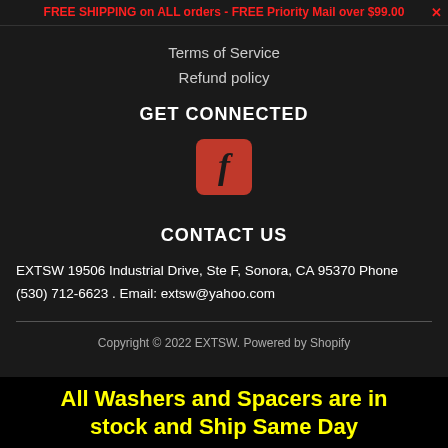FREE SHIPPING on ALL orders - FREE Priority Mail over $99.00 ✕
Terms of Service
Refund policy
GET CONNECTED
[Figure (logo): Facebook logo icon — red/dark-red square with rounded corners and a white 'f' letter in italic style]
CONTACT US
EXTSW 19506 Industrial Drive, Ste F, Sonora, CA 95370 Phone (530) 712-6623 . Email: extsw@yahoo.com
Copyright © 2022 EXTSW. Powered by Shopify
All Washers and Spacers are in stock and Ship Same Day